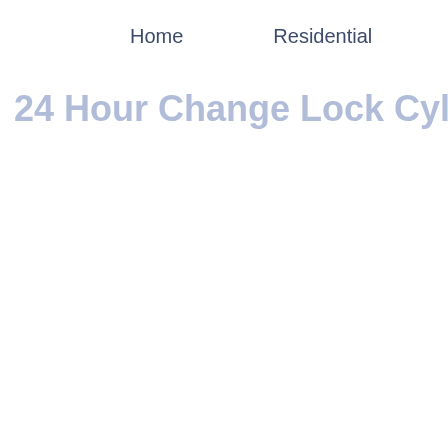Home    Residential    Autom
24 Hour Change Lock Cylinder Mia